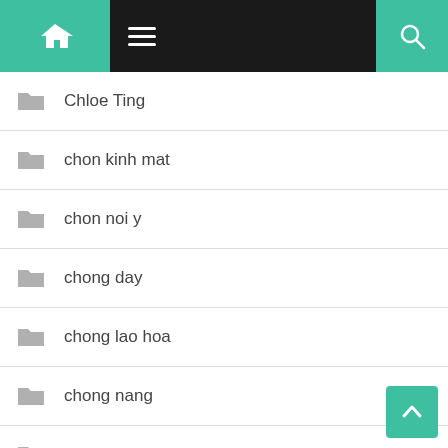[Figure (screenshot): App navigation header with home icon, hamburger menu, and search icon on dark background with teal accent buttons]
Chloe Ting
chon kinh mat
chon noi y
chong day
chong lao hoa
chong nang
chong nang cho toc
chong nuoc
chris hemsworth